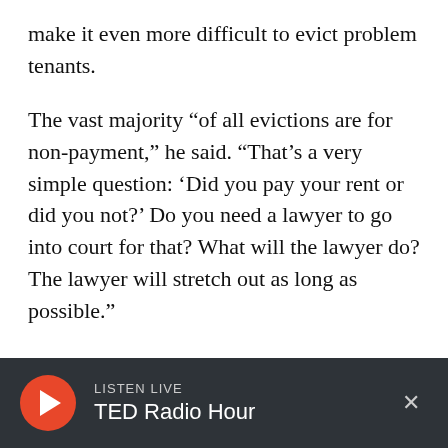make it even more difficult to evict problem tenants.
The vast majority “of all evictions are for non-payment,” he said. “That’s a very simple question: ‘Did you pay your rent or did you not?’ Do you need a lawyer to go into court for that? What will the lawyer do? The lawyer will stretch out as long as possible.”
The GBLS tool is not the same as legal representation, but it’s a stop-gap measure aimed at empowering those facing eviction and ultimately increasing housing stability for low-
LISTEN LIVE
TED Radio Hour